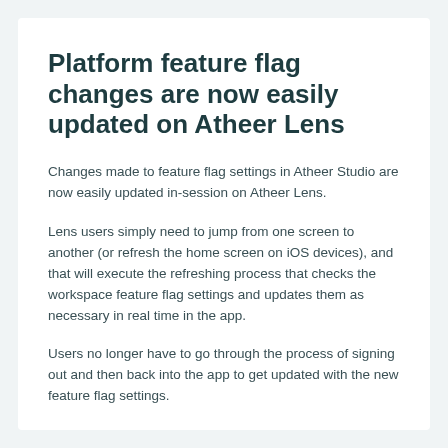Platform feature flag changes are now easily updated on Atheer Lens
Changes made to feature flag settings in Atheer Studio are now easily updated in-session on Atheer Lens.
Lens users simply need to jump from one screen to another (or refresh the home screen on iOS devices), and that will execute the refreshing process that checks the workspace feature flag settings and updates them as necessary in real time in the app.
Users no longer have to go through the process of signing out and then back into the app to get updated with the new feature flag settings.